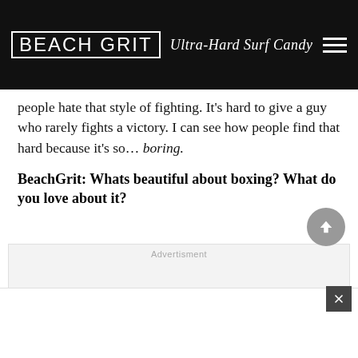BEACH GRIT Ultra-Hard Surf Candy
people hate that style of fighting. It's hard to give a guy who rarely fights a victory. I can see how people find that hard because it's so… boring.
BeachGrit: Whats beautiful about boxing? What do you love about it?
[Figure (other): Advertisement placeholder box with gray background and 'Advertisment' label]
[Figure (other): Back to top button - circular gray button with upward chevron arrow]
[Figure (other): Bottom advertisement bar with close/X button in bottom-right corner]